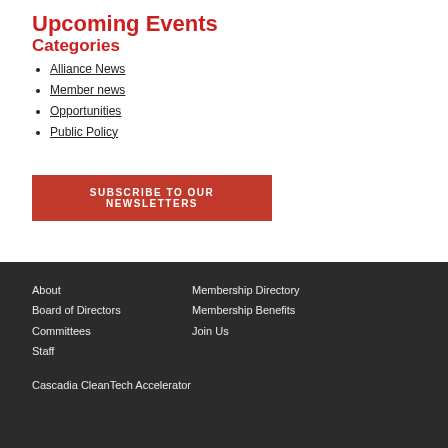Upcoming Events
Categories
Alliance News
Member news
Opportunities
Public Policy
Subscribe to our Newsletters
About
Board of Directors
Committees
Staff
Membership Directory
Membership Benefits
Join Us
Cascadia CleanTech Accelerator